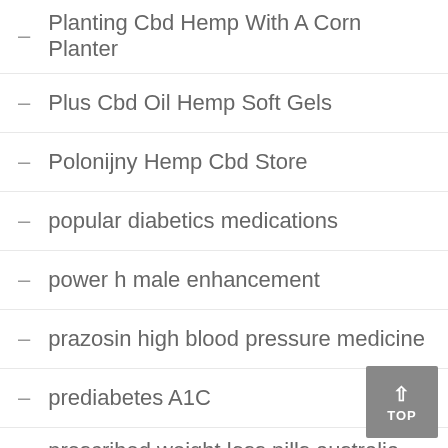Planting Cbd Hemp With A Corn Planter
Plus Cbd Oil Hemp Soft Gels
Polonijny Hemp Cbd Store
popular diabetics medications
power h male enhancement
prazosin high blood pressure medicine
prediabetes A1C
prescribed weight loss pills australia map
prevent diabetes
preventing type 2 diabetes
pro plus ultimate male enhancement